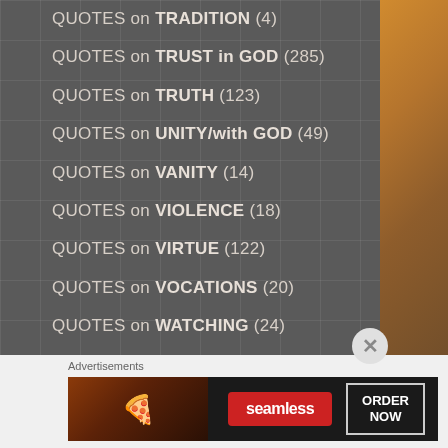QUOTES on TRADITION (4)
QUOTES on TRUST in GOD (285)
QUOTES on TRUTH (123)
QUOTES on UNITY/with GOD (49)
QUOTES on VANITY (14)
QUOTES on VIOLENCE (18)
QUOTES on VIRTUE (122)
QUOTES on VOCATIONS (20)
QUOTES on WATCHING (24)
QUOTES on WEALTH/RICHES (24)
QUOTES on WISDOM (26)
Advertisements
[Figure (photo): Seamless food delivery advertisement banner showing pizza with Seamless logo and ORDER NOW button]